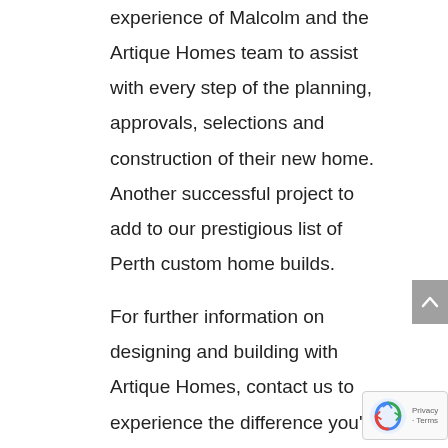experience of Malcolm and the Artique Homes team to assist with every step of the planning, approvals, selections and construction of their new home. Another successful project to add to our prestigious list of Perth custom home builds.
For further information on designing and building with Artique Homes, contact us to experience the difference you'll achieve by selecting your build before you select your home.